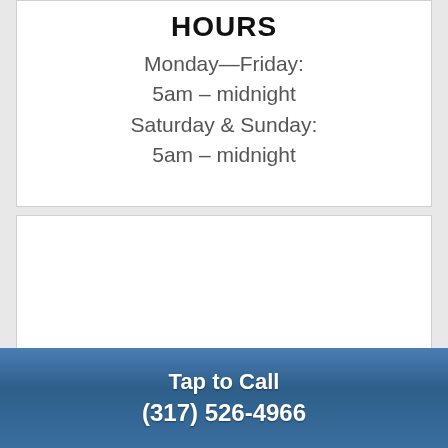HOURS
Monday—Friday:
5am – midnight
Saturday & Sunday:
5am – midnight
Tap to Call
(317) 526-4966